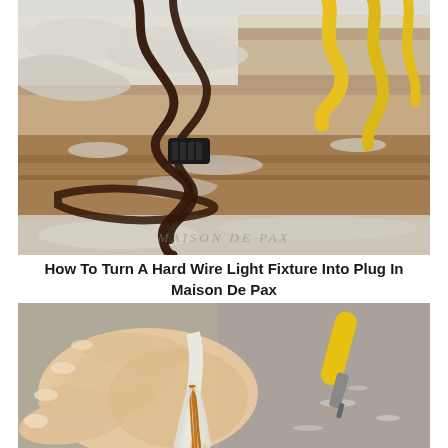[Figure (photo): Overhead photo of a distressed white-painted wood surface with a brown electrical cord coiled and a black connector piece visible in the center-left. Yellow strips of material are visible in the upper right corner. The watermark 'MAISON DE PAX' appears faintly at the bottom right.]
How To Turn A Hard Wire Light Fixture Into Plug In Maison De Pax
[Figure (photo): Close-up photo of a hand holding a stripped white electrical wire showing copper strands and white insulation, being peeled back. A yellow-handled tool is visible in the blurred background on the right side.]